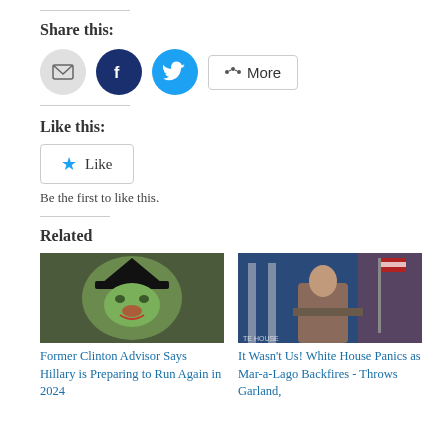Share this:
[Figure (infographic): Share buttons: email (grey circle), Facebook (dark blue circle with f icon), Twitter (blue circle with bird icon), and a More button with share icon]
Like this:
[Figure (infographic): Like button with blue star icon and Like text]
Be the first to like this.
Related
[Figure (photo): Image of a person with green face makeup resembling Wicked Witch character]
Former Clinton Advisor Says Hillary is Preparing to Run Again in 2024
[Figure (photo): Woman speaking at a podium at the White House briefing room with American flag in background]
It Wasn't Us! White House Panics as Mar-a-Lago Backfires - Throws Garland, DOJ, FBI Completely Under...